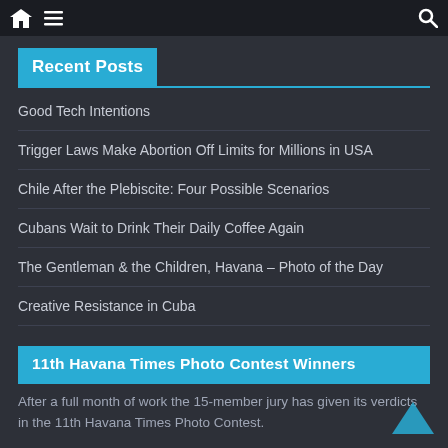Navigation bar with home, menu, and search icons
Recent Posts
Good Tech Intentions
Trigger Laws Make Abortion Off Limits for Millions in USA
Chile After the Plebiscite: Four Possible Scenarios
Cubans Wait to Drink Their Daily Coffee Again
The Gentleman & the Children, Havana – Photo of the Day
Creative Resistance in Cuba
11th Havana Times Photo Contest Winners
After a full month of work the 15-member jury has given its verdicts in the 11th Havana Times Photo Contest.